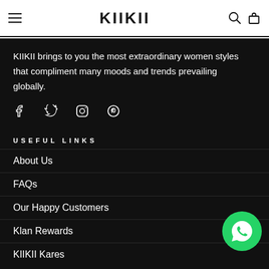KIIKII
KIIKII brings to you the most extraordinary women styles that compliment many moods and trends prevailing globally.
[Figure (illustration): Social media icons: Facebook, Twitter, Instagram, Pinterest]
USEFUL LINKS
About Us
FAQs
Our Happy Customers
Klan Rewards
KIIKII Kares
[Figure (logo): WhatsApp green circle button with phone/chat icon]